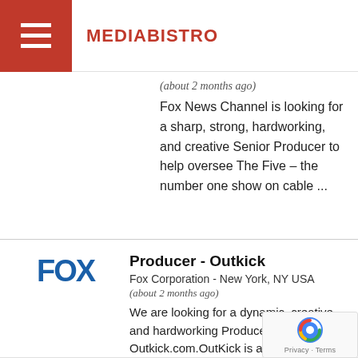MEDIABISTRO
(about 2 months ago)
Fox News Channel is looking for a sharp, strong, hardworking, and creative Senior Producer to help oversee The Five – the number one show on cable ...
Producer - Outkick
Fox Corporation - New York, NY USA
(about 2 months ago)
We are looking for a dynamic, creative, and hardworking Producer to join Outkick.com.OutKick is a leading national media platform that produces and...